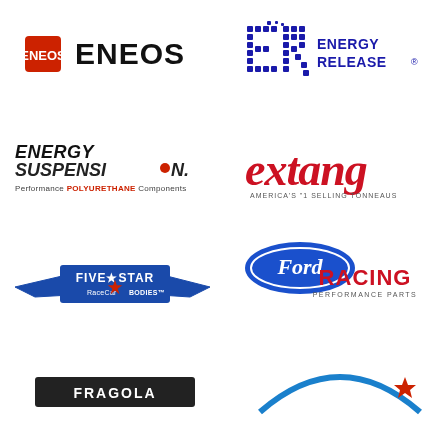[Figure (logo): ENEOS logo with red square icon on left and bold black ENEOS text]
[Figure (logo): Energy Release logo with large blue dotted ER letters and blue ENERGY RELEASE text on right]
[Figure (logo): Energy Suspension logo with bold italic black/red text and tagline Performance POLYURETHANE Components]
[Figure (logo): extang logo in bold red cursive letters with tagline AMERICA'S #1 SELLING TONNEAUS]
[Figure (logo): Five Star Race Car Bodies logo with star emblem and wing shapes in blue and red]
[Figure (logo): Ford Racing Performance Parts logo with Ford oval in blue and red RACING text]
[Figure (logo): Partially visible logo at bottom left - dark text]
[Figure (logo): Partially visible logo at bottom right - blue arc with star element]